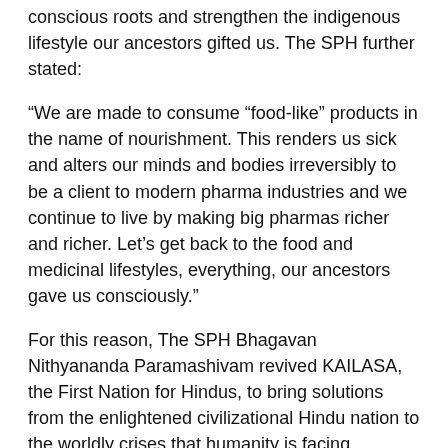conscious roots and strengthen the indigenous lifestyle our ancestors gifted us. The SPH further stated:
“We are made to consume “food-like” products in the name of nourishment. This renders us sick and alters our minds and bodies irreversibly to be a client to modern pharma industries and we continue to live by making big pharmas richer and richer. Let’s get back to the food and medicinal lifestyles, everything, our ancestors gave us consciously.”
For this reason, The SPH Bhagavan Nithyananda Paramashivam revived KAILASA, the First Nation for Hindus, to bring solutions from the enlightened civilizational Hindu nation to the worldly crises that humanity is facing.
“KAILASA is all about reviving the ancient enlightened conscious centric indigenous traditions. Hinduism is